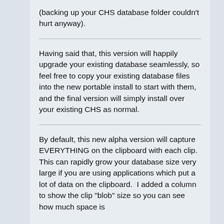(backing up your CHS database folder couldn't hurt anyway).
Having said that, this version will happily upgrade your existing database seamlessly, so feel free to copy your existing database files into the new portable install to start with them, and the final version will simply install over your existing CHS as normal.
By default, this new alpha version will capture EVERYTHING on the clipboard with each clip.  This can rapidly grow your database size very large if you are using applications which put a lot of data on the clipboard.  I added a column to show the clip "blob" size so you can see how much space is